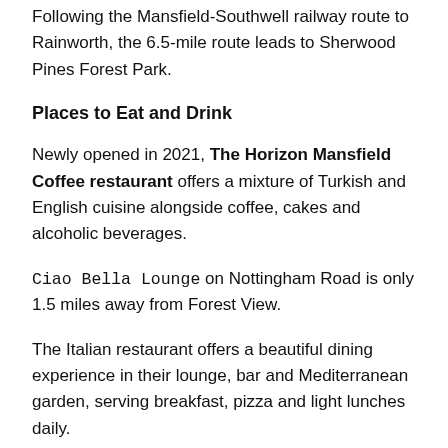Following the Mansfield-Southwell railway route to Rainworth, the 6.5-mile route leads to Sherwood Pines Forest Park.
Places to Eat and Drink
Newly opened in 2021, The Horizon Mansfield Coffee restaurant offers a mixture of Turkish and English cuisine alongside coffee, cakes and alcoholic beverages.
Ciao Bella Lounge on Nottingham Road is only 1.5 miles away from Forest View.
The Italian restaurant offers a beautiful dining experience in their lounge, bar and Mediterranean garden, serving breakfast, pizza and light lunches daily.
Mansfield has a great selection of bars and nightlife to choose from, including Capo Lounge, The Cheeky